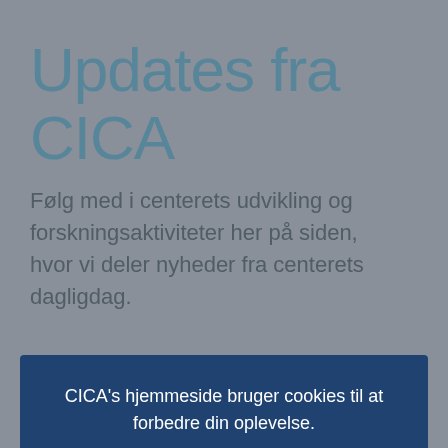Updates fra CICA
Følg med i centerets udvikling og forskningsaktiviteter her på siden, hvor vi deler nyheder fra centerets dagligdag.
CICA's hjemmeside bruger cookies til at forbedre din oplevelse.
✓ OK
Stor EU-bevilling opnået til AI-assisteret kapselendoskopi